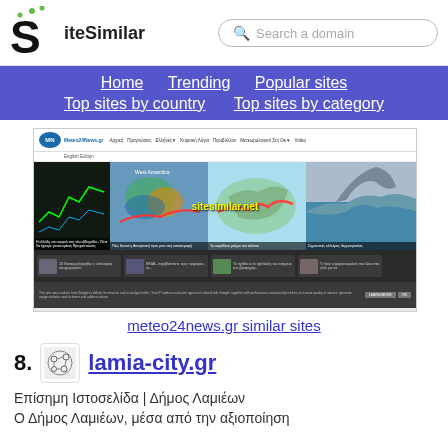SiteSimilar — Search a domain
Home  Trending  Popular sites  Top sites by country  Top sites by category
[Figure (screenshot): Screenshot of meteo24news.gr website showing navigation bar, weather map images with sitesimilar.net watermark, thumbnail articles, and cookie consent bar]
meteo24news.gr similar sites
8. lamia-city.gr
Επίσημη Ιστοσελίδα | Δήμος Λαμιέων
Ο Δήμος Λαμιέων, μέσα από την αξιοποίηση